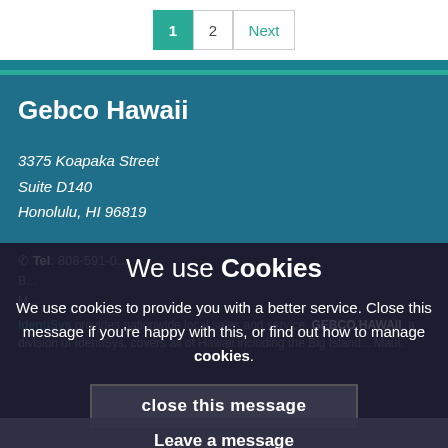1  2  Next
Gebco Hawaii
3375 Koapaka Street
Suite D140
Honolulu, HI 96819
Tel: 808-591-0[...]
We use Cookies
We use cookies to provide you with a better service. Close this message if you're happy with this, or find out how to manage cookies.
close this message
Leave a message